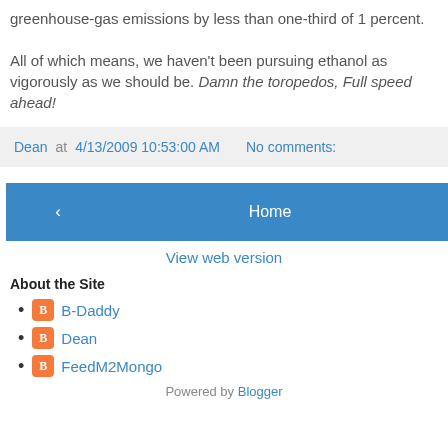greenhouse-gas emissions by less than one-third of 1 percent. All of which means, we haven't been pursuing ethanol as vigorously as we should be. Damn the toropedos, Full speed ahead!
Dean at 4/13/2009 10:53:00 AM   No comments:
‹   Home   ›
View web version
About the Site
B-Daddy
Dean
FeedM2Mongo
Powered by Blogger